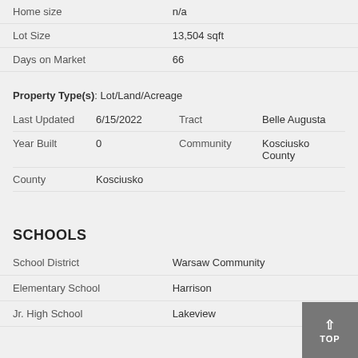| Property | Value |
| --- | --- |
| Home size | n/a |
| Lot Size | 13,504 sqft |
| Days on Market | 66 |
Property Type(s): Lot/Land/Acreage
| Label1 | Value1 | Label2 | Value2 |
| --- | --- | --- | --- |
| Last Updated | 6/15/2022 | Tract | Belle Augusta |
| Year Built | 0 | Community | Kosciusko County |
| County | Kosciusko |  |  |
SCHOOLS
| Label | Value |
| --- | --- |
| School District | Warsaw Community |
| Elementary School | Harrison |
| Jr. High School | Lakeview |